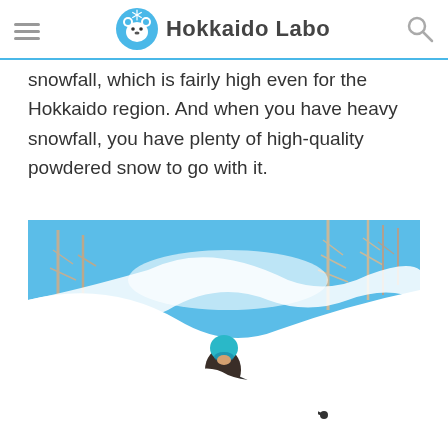Hokkaido Labo
snowfall, which is fairly high even for the Hokkaido region. And when you have heavy snowfall, you have plenty of high-quality powdered snow to go with it.
[Figure (photo): A skier in a teal beanie and dark ski gear carving through deep powder snow on a steep slope, with bare trees and a bright blue sky in the background. Snow sprays dramatically around the skier.]